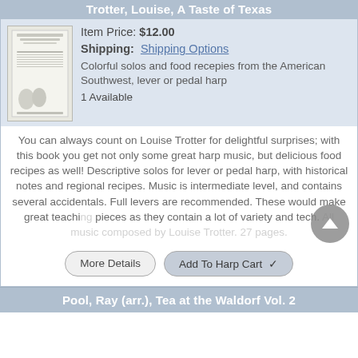Trotter, Louise, A Taste of Texas
Item Price: $12.00
Shipping: Shipping Options
[Figure (photo): Book cover thumbnail for A Taste of Texas by Louise Trotter]
Colorful solos and food recepies from the American Southwest, lever or pedal harp
1 Available
You can always count on Louise Trotter for delightful surprises; with this book you get not only some great harp music, but delicious food recipes as well! Descriptive solos for lever or pedal harp, with historical notes and regional recipes. Music is intermediate level, and contains several accidentals. Full levers are recommended. These would make great teaching pieces as they contain a lot of variety and tech. All music composed by Louise Trotter. 27 pages.
More Details | Add To Harp Cart
Pool, Ray (arr.), Tea at the Waldorf Vol. 2